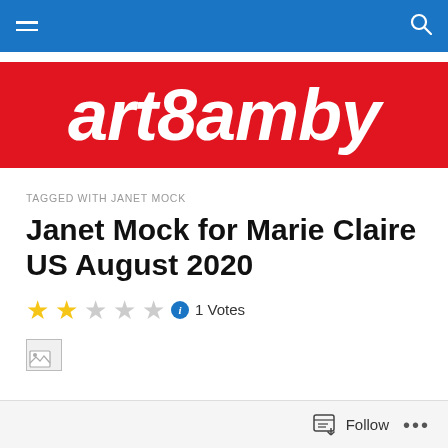art8amby
TAGGED WITH JANET MOCK
Janet Mock for Marie Claire US August 2020
2 out of 5 stars — 1 Votes
[Figure (other): Broken image placeholder thumbnail]
Follow